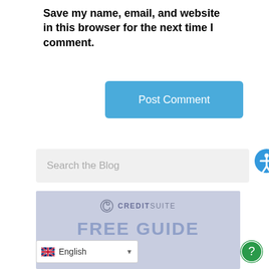Save my name, email, and website in this browser for the next time I comment.
Post Comment
Search the Blog
[Figure (other): CreditSuite Free Guide promotional image with logo and 'FREE GUIDE' text on a blue-grey background]
English